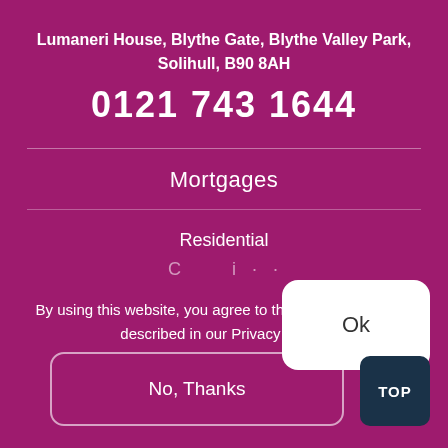Lumaneri House, Blythe Gate, Blythe Valley Park, Solihull, B90 8AH
0121 743 1644
Mortgages
Residential
By using this website, you agree to the use of cookies as described in our Privacy Policy.
Ok
No, Thanks
TOP